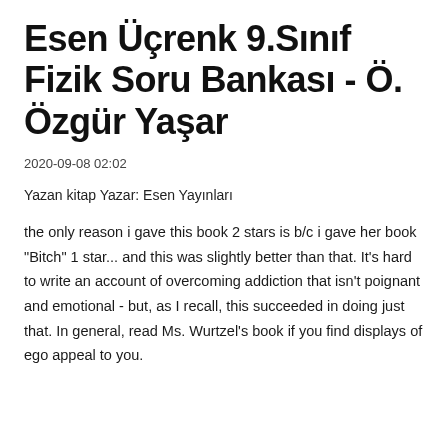Esen Üçrenk 9.Sınıf Fizik Soru Bankası - Ö. Özgür Yaşar
2020-09-08 02:02
Yazan kitap Yazar: Esen Yayınları
the only reason i gave this book 2 stars is b/c i gave her book "Bitch" 1 star... and this was slightly better than that. It's hard to write an account of overcoming addiction that isn't poignant and emotional - but, as I recall, this succeeded in doing just that. In general, read Ms. Wurtzel's book if you find displays of ego appeal to you.